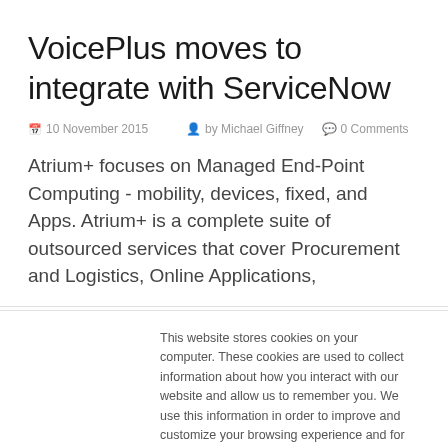VoicePlus moves to integrate with ServiceNow
10 November 2015   by Michael Giffney   0 Comments
Atrium+ focuses on Managed End-Point Computing - mobility, devices, fixed, and Apps. Atrium+ is a complete suite of outsourced services that cover Procurement and Logistics, Online Applications,
This website stores cookies on your computer. These cookies are used to collect information about how you interact with our website and allow us to remember you. We use this information in order to improve and customize your browsing experience and for analytics and metrics about our visitors both on this website and other media. To find out more about the cookies we use, see our Privacy Policy
Accept